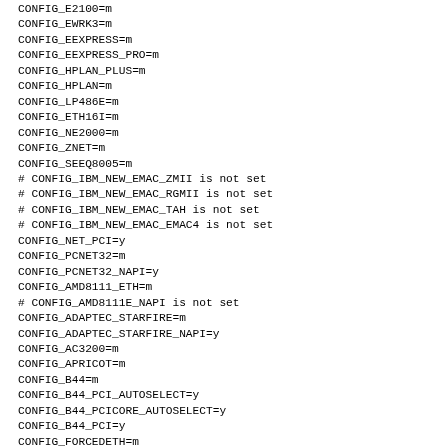CONFIG_E2100=m
CONFIG_EWRK3=m
CONFIG_EEXPRESS=m
CONFIG_EEXPRESS_PRO=m
CONFIG_HPLAN_PLUS=m
CONFIG_HPLAN=m
CONFIG_LP486E=m
CONFIG_ETH16I=m
CONFIG_NE2000=m
CONFIG_ZNET=m
CONFIG_SEEQ8005=m
# CONFIG_IBM_NEW_EMAC_ZMII is not set
# CONFIG_IBM_NEW_EMAC_RGMII is not set
# CONFIG_IBM_NEW_EMAC_TAH is not set
# CONFIG_IBM_NEW_EMAC_EMAC4 is not set
CONFIG_NET_PCI=y
CONFIG_PCNET32=m
CONFIG_PCNET32_NAPI=y
CONFIG_AMD8111_ETH=m
# CONFIG_AMD8111E_NAPI is not set
CONFIG_ADAPTEC_STARFIRE=m
CONFIG_ADAPTEC_STARFIRE_NAPI=y
CONFIG_AC3200=m
CONFIG_APRICOT=m
CONFIG_B44=m
CONFIG_B44_PCI_AUTOSELECT=y
CONFIG_B44_PCICORE_AUTOSELECT=y
CONFIG_B44_PCI=y
CONFIG_FORCEDETH=m
CONFIG_FORCEDETH_NAPI=y